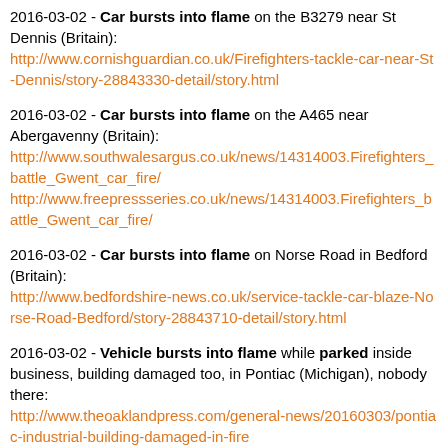2016-03-02 - Car bursts into flame on the B3279 near St Dennis (Britain): http://www.cornishguardian.co.uk/Firefighters-tackle-car-near-St-Dennis/story-28843330-detail/story.html
2016-03-02 - Car bursts into flame on the A465 near Abergavenny (Britain): http://www.southwalesargus.co.uk/news/14314003.Firefighters_battle_Gwent_car_fire/ http://www.freepressseries.co.uk/news/14314003.Firefighters_battle_Gwent_car_fire/
2016-03-02 - Car bursts into flame on Norse Road in Bedford (Britain): http://www.bedfordshire-news.co.uk/service-tackle-car-blaze-Norse-Road-Bedford/story-28843710-detail/story.html
2016-03-02 - Vehicle bursts into flame while parked inside business, building damaged too, in Pontiac (Michigan), nobody there: http://www.theoaklandpress.com/general-news/20160303/pontiac-industrial-building-damaged-in-fire